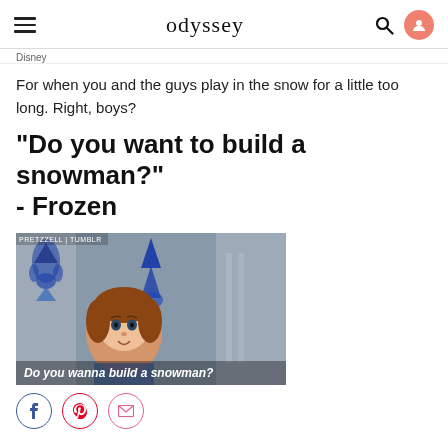odyssey
Disney
For when you and the guys play in the snow for a little too long. Right, boys?
"Do you want to build a snowman?" - Frozen
[Figure (screenshot): Animated GIF from Disney Frozen showing young Anna at a door, with text overlay reading 'Do you wanna build a snowman?' and 'PRETZZELL|TUMBLR' watermark in top-left. Blue decorative motifs visible on the door in the background.]
Social share buttons: Facebook, Pinterest, Email